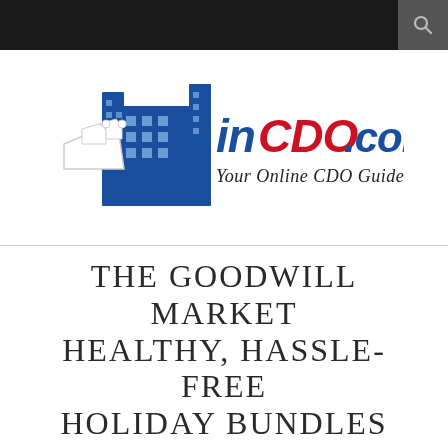incdo.com — Your Online CDO Guide (navigation bar with search icon)
[Figure (logo): InCDO.com logo — hand pointing at blue city buildings graphic, with text 'inCDO.com' in bold blue and red letters, and subtitle 'Your Online CDO Guide' in black italic text]
THE GOODWILL MARKET HEALTHY, HASSLE-FREE HOLIDAY BUNDLES
PRESS RELEASE